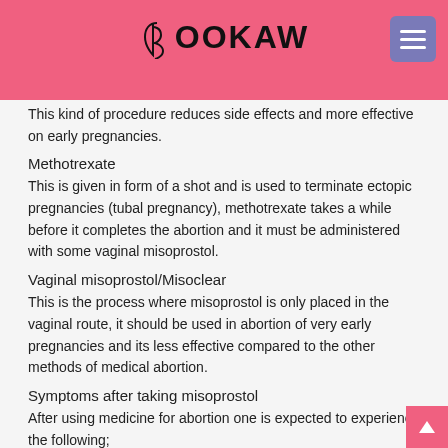BOOKAW
This kind of procedure reduces side effects and more effective on early pregnancies.
Methotrexate
This is given in form of a shot and is used to terminate ectopic pregnancies (tubal pregnancy), methotrexate takes a while before it completes the abortion and it must be administered with some vaginal misoprostol.
Vaginal misoprostol/Misoclear
This is the process where misoprostol is only placed in the vaginal route, it should be used in abortion of very early pregnancies and its less effective compared to the other methods of medical abortion.
Symptoms after taking misoprostol
After using medicine for abortion one is expected to experience the following;
✓ Abdominal cramping
✓ Vaginal bleeding